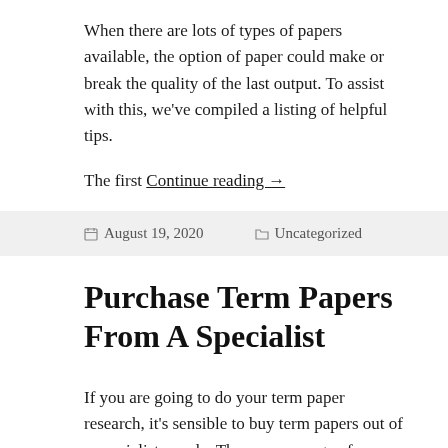When there are lots of types of papers available, the option of paper could make or break the quality of the last output. To assist with this, we've compiled a listing of helpful tips.
The first Continue reading →
August 19, 2020  Uncategorized
Purchase Term Papers From A Specialist
If you are going to do your term paper research, it's sensible to buy term papers out of a specialist supply. There are a range of reasons for this. Let's